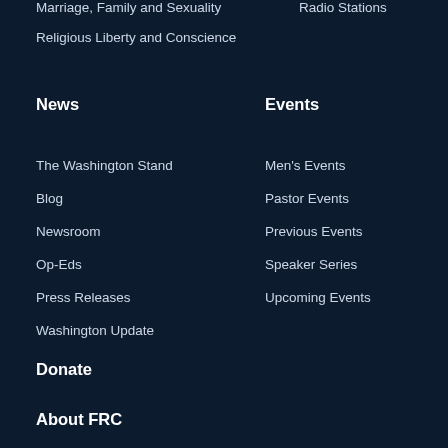Marriage, Family and Sexuality
Radio Stations
Religious Liberty and Conscience
News
Events
The Washington Stand
Men's Events
Blog
Pastor Events
Newsroom
Previous Events
Op-Eds
Speaker Series
Press Releases
Upcoming Events
Washington Update
Donate
About FRC